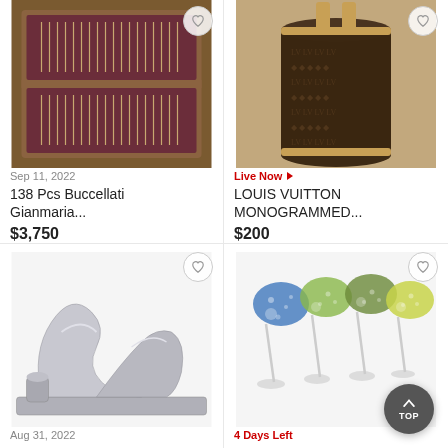[Figure (photo): Flatware set in wooden case - 138 Pcs Buccellati Gianmaria]
Sep 11, 2022
138 Pcs Buccellati Gianmaria...
$3,750
[Figure (photo): Louis Vuitton monogrammed cylindrical bag with leather strap]
Live Now ▶
LOUIS VUITTON MONOGRAMMED...
$200
[Figure (photo): Silver metallic sculptural art piece / vase]
Aug 31, 2022
[Figure (photo): Four colored crystal wine glasses on clear stems]
4 Days Left